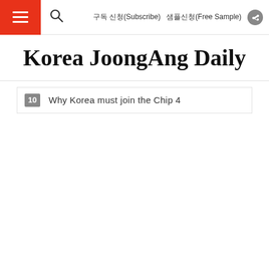구독 신청(Subscribe)  샘플신청(Free Sample)
Korea JoongAng Daily
10  Why Korea must join the Chip 4